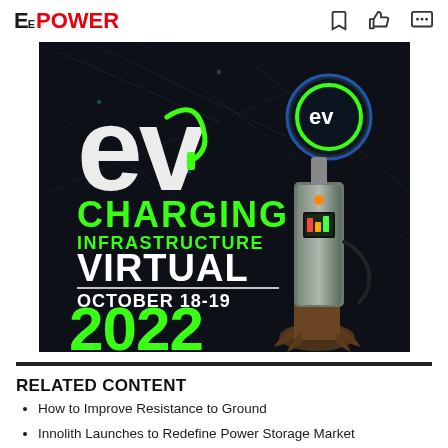EE POWER
[Figure (illustration): EV Charging Infrastructure Virtual October 18-19 2022 event advertisement. Dark background with large 'ev' text styled as a charging plug, an EV charging station styled as a vintage gas pump with roots, green text reading CHARGING INFRASTRUCTURE VIRTUAL OCTOBER 18-19 2022, and a circular green 'ev' logo at the top.]
RELATED CONTENT
How to Improve Resistance to Ground
Innolith Launches to Redefine Power Storage Market
UltraSoC Launches CAN Sentinel to Boost